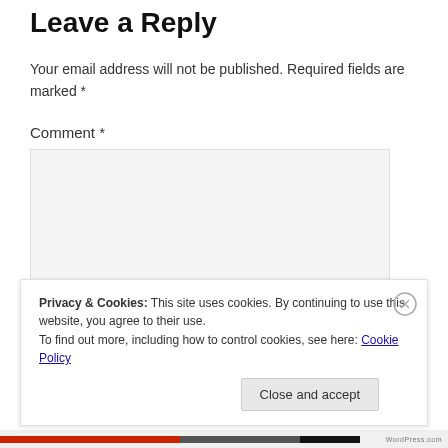Leave a Reply
Your email address will not be published. Required fields are marked *
Comment *
[Figure (other): Empty comment text area input box with light gray background]
Privacy & Cookies: This site uses cookies. By continuing to use this website, you agree to their use.
To find out more, including how to control cookies, see here: Cookie Policy
Close and accept